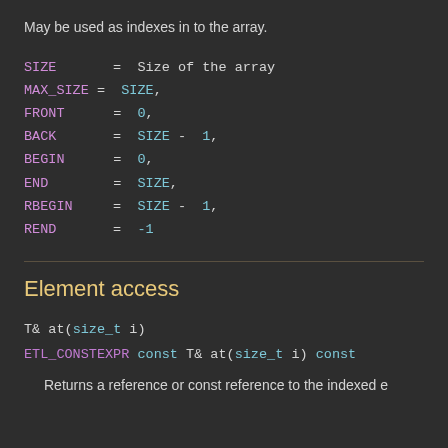May be used as indexes in to the array.
SIZE      =  Size of the array
MAX_SIZE =  SIZE,
FRONT      =  0,
BACK       =  SIZE - 1,
BEGIN      =  0,
END        =  SIZE,
RBEGIN     =  SIZE - 1,
REND       =  -1
Element access
T& at(size_t i)
ETL_CONSTEXPR const T& at(size_t i) const
Returns a reference or const reference to the indexed e